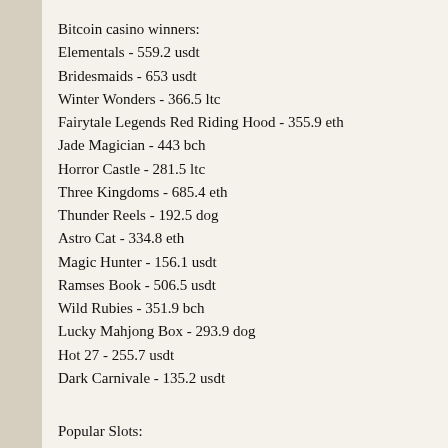Bitcoin casino winners:
Elementals - 559.2 usdt
Bridesmaids - 653 usdt
Winter Wonders - 366.5 ltc
Fairytale Legends Red Riding Hood - 355.9 eth
Jade Magician - 443 bch
Horror Castle - 281.5 ltc
Three Kingdoms - 685.4 eth
Thunder Reels - 192.5 dog
Astro Cat - 334.8 eth
Magic Hunter - 156.1 usdt
Ramses Book - 506.5 usdt
Wild Rubies - 351.9 bch
Lucky Mahjong Box - 293.9 dog
Hot 27 - 255.7 usdt
Dark Carnivale - 135.2 usdt
Popular Slots:
Vegas Crest Casino Gobblers Gold
Vegas Crest Casino Jade Magician